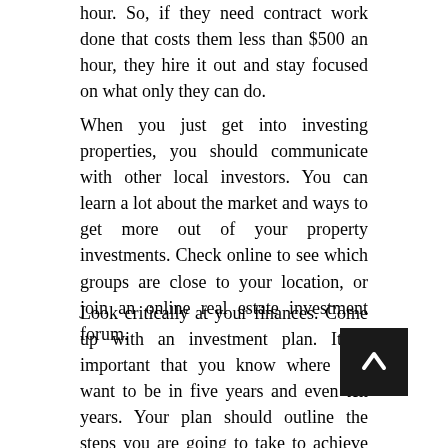hour. So, if they need contract work done that costs them less than $500 an hour, they hire it out and stay focused on what only they can do.
When you just get into investing properties, you should communicate with other local investors. You can learn a lot about the market and ways to get more out of your property investments. Check online to see which groups are close to your location, or join an online real estate investment forum.
Look critically at your finances. Come up with an investment plan. It is important that you know where you want to be in five years and even ten years. Your plan should outline the steps you are going to take to achieve your goals. Also, think through how you will address any issues that may crop up along the way.
It is possible to avoid incurring fees when investing in stocks if you purchase directly through the company in